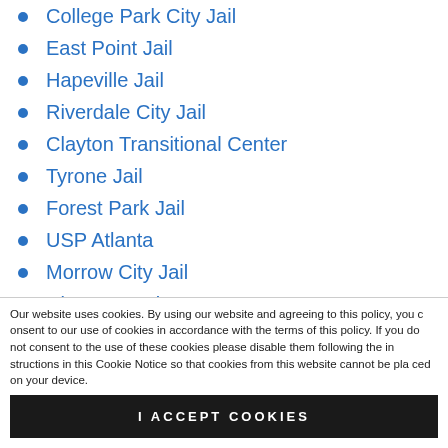College Park City Jail
East Point Jail
Hapeville Jail
Riverdale City Jail
Clayton Transitional Center
Tyrone Jail
Forest Park Jail
USP Atlanta
Morrow City Jail
Clayton Work Camp
Clayton County Jail
Helms Facility – Special Medical
Our website uses cookies. By using our website and agreeing to this policy, you consent to our use of cookies in accordance with the terms of this policy. If you do not consent to the use of these cookies please disable them following the instructions in this Cookie Notice so that cookies from this website cannot be placed on your device.
I ACCEPT COOKIES